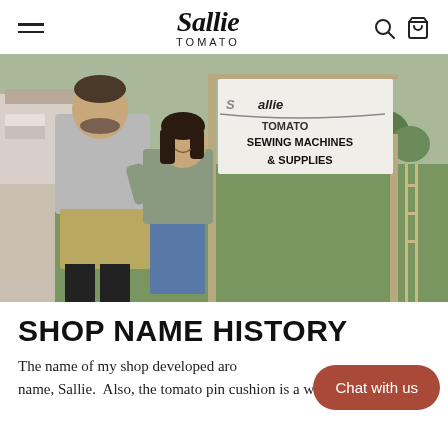Sallie Tomato
[Figure (photo): A couple standing outdoors in front of a wooden sign that reads 'Sallie Tomato Sewing Machines & Supplies'. The man is wearing a gray t-shirt and khaki shorts with black boots. The woman is wearing a gray top and jeans, smiling and leaning against the man. Background shows green grass and suburban homes.]
SHOP NAME HISTORY
The name of my shop developed around my name, Sallie.  Also, the tomato pin cushion is a well-